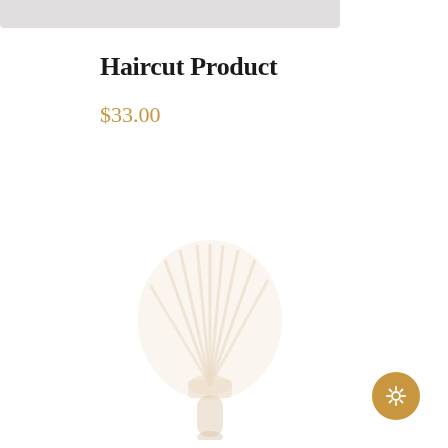Haircut Product
$33.00
[Figure (photo): Faint watermark-style image of a shaving/haircut brush with bristles fanning out at top and a dark handle at bottom, very light and washed out against white background]
[Figure (other): Gold/amber circular settings gear icon button in bottom-right corner]